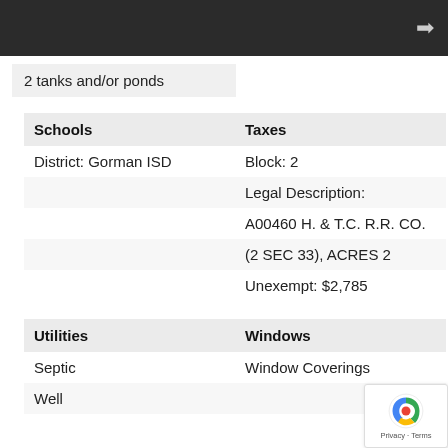2 tanks and/or ponds
| Schools | Taxes |
| --- | --- |
| District: Gorman ISD | Block: 2 |
|  | Legal Description: |
|  | A00460 H. & T.C. R.R. CO. |
|  | (2 SEC 33), ACRES 2 |
|  | Unexempt: $2,785 |
| Utilities | Windows |
| --- | --- |
| Septic | Window Coverings |
| Well |  |